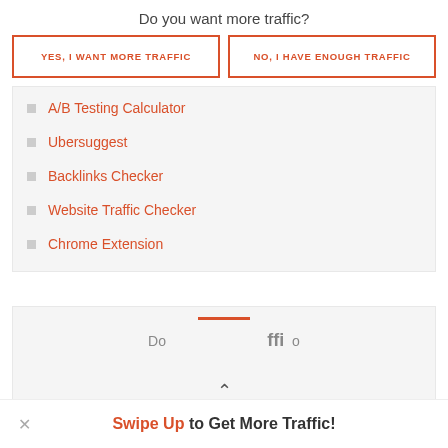Do you want more traffic?
YES, I WANT MORE TRAFFIC
NO, I HAVE ENOUGH TRAFFIC
A/B Testing Calculator
Ubersuggest
Backlinks Checker
Website Traffic Checker
Chrome Extension
Swipe Up to Get More Traffic!